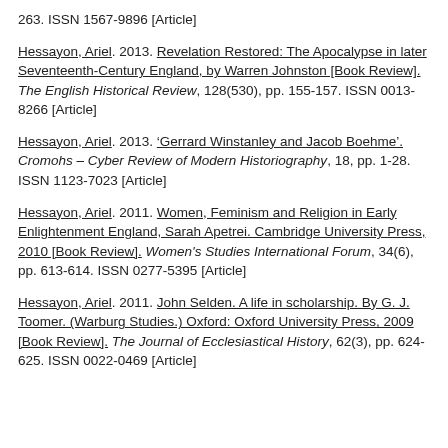263. ISSN 1567-9896 [Article]
Hessayon, Ariel. 2013. Revelation Restored: The Apocalypse in later Seventeenth-Century England, by Warren Johnston [Book Review]. The English Historical Review, 128(530), pp. 155-157. ISSN 0013-8266 [Article]
Hessayon, Ariel. 2013. ‘Gerrard Winstanley and Jacob Boehme’. Cromohs – Cyber Review of Modern Historiography, 18, pp. 1-28. ISSN 1123-7023 [Article]
Hessayon, Ariel. 2011. Women, Feminism and Religion in Early Enlightenment England, Sarah Apetrei. Cambridge University Press, 2010 [Book Review]. Women's Studies International Forum, 34(6), pp. 613-614. ISSN 0277-5395 [Article]
Hessayon, Ariel. 2011. John Selden. A life in scholarship. By G. J. Toomer. (Warburg Studies.) Oxford: Oxford University Press, 2009 [Book Review]. The Journal of Ecclesiastical History, 62(3), pp. 624-625. ISSN 0022-0469 [Article]